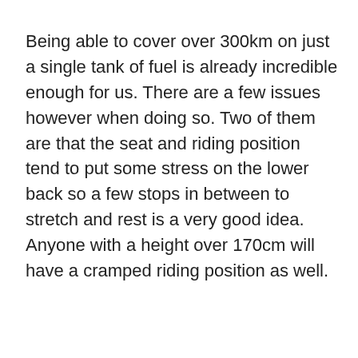Being able to cover over 300km on just a single tank of fuel is already incredible enough for us. There are a few issues however when doing so. Two of them are that the seat and riding position tend to put some stress on the lower back so a few stops in between to stretch and rest is a very good idea. Anyone with a height over 170cm will have a cramped riding position as well.